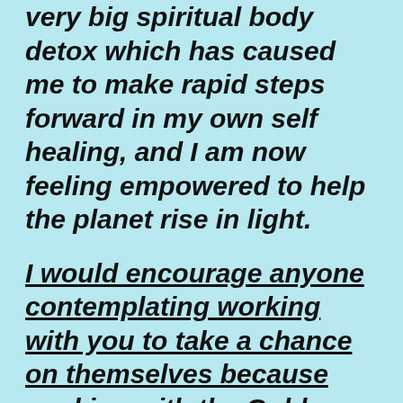very big spiritual body detox which has caused me to make rapid steps forward in my own self healing, and I am now feeling empowered to help the planet rise in light.
I would encourage anyone contemplating working with you to take a chance on themselves because working with the Golden Ray has [continues below]